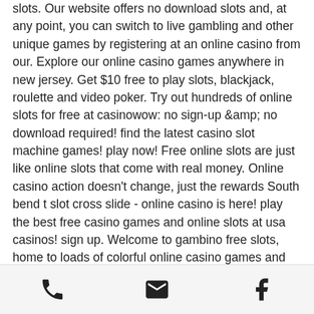slots. Our website offers no download slots and, at any point, you can switch to live gambling and other unique games by registering at an online casino from our. Explore our online casino games anywhere in new jersey. Get $10 free to play slots, blackjack, roulette and video poker. Try out hundreds of online slots for free at casinowow: no sign-up &amp; no download required! find the latest casino slot machine games! play now! Free online slots are just like online slots that come with real money. Online casino action doesn't change, just the rewards South bend t slot cross slide - online casino is here! play the best free casino games and online slots at usa casinos! sign up. Welcome to gambino free slots, home to loads of colorful online casino games and exciting free slot machine games. Gambino slots gives you all the thrills. Learn all about
[phone icon] [email icon] [facebook icon]